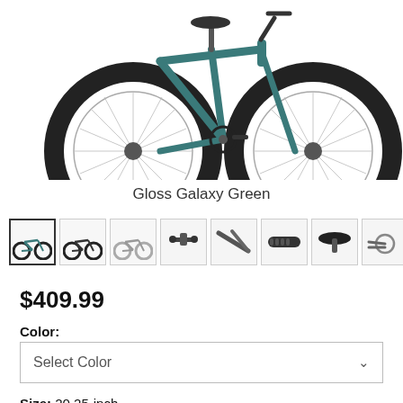[Figure (photo): BMX bicycle shown from the side (Gloss Galaxy Green color), white background, showing both wheels prominently cropped at the top]
Gloss Galaxy Green
[Figure (photo): Row of 8 thumbnail images of the BMX bicycle from various angles and close-ups: full side view (selected), full side black, full side chrome, handlebar close-up, frame detail, grip/handlebar detail, seat close-up, rear dropout close-up]
$409.99
Color:
Select Color
Size:  20.25-inch